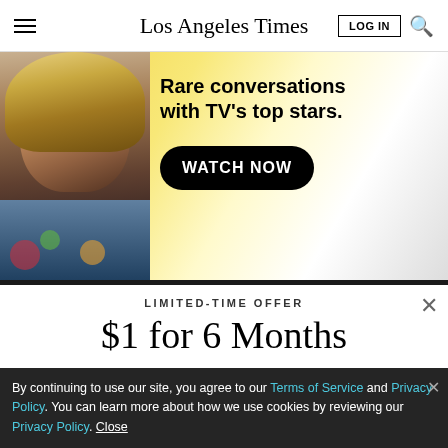Los Angeles Times
[Figure (photo): Advertisement banner with a blonde woman and text 'Rare conversations with TV's top stars. WATCH NOW' on golden background]
LIMITED-TIME OFFER
$1 for 6 Months
SUBSCRIBE NOW
By continuing to use our site, you agree to our Terms of Service and Privacy Policy. You can learn more about how we use cookies by reviewing our Privacy Policy. Close